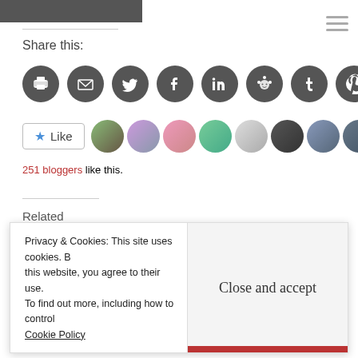[Figure (photo): Partial top image cropped at top of page]
Share this:
[Figure (infographic): Row of social sharing icon buttons: print, email, Twitter, Facebook, LinkedIn, Reddit, Tumblr, Pinterest]
[Figure (infographic): Like button with star icon and row of blogger avatar thumbnails]
251 bloggers like this.
Related
What's the Use of the Academic Paper?: Blogiversary Post #9
The Problem With Desire Paths
September 22, 2011
Privacy & Cookies: This site uses cookies. By continuing to use this website, you agree to their use.
To find out more, including how to control cookies, see here:
Cookie Policy
Close and accept